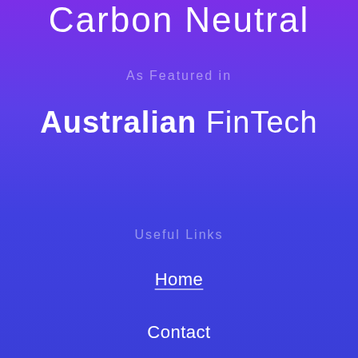Carbon Neutral
As Featured in
Australian FinTech
Useful Links
Home
Contact
Developer Portal
Web Portal Login